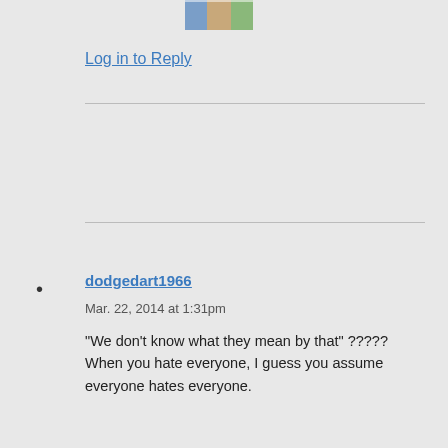[Figure (photo): Small avatar/profile photo thumbnail at top center, partially visible, colorful image]
Log in to Reply
dodgedart1966
Mar. 22, 2014 at 1:31pm
“We don’t know what they mean by that” ?????
When you hate everyone, I guess you assume everyone hates everyone.